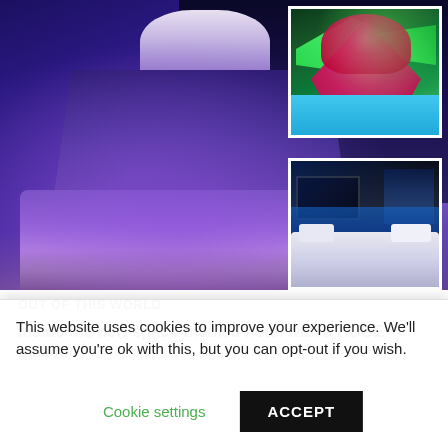[Figure (photo): Composite photo: Large aerial night view of a futuristic purple-lit hotel and mall complex (left/main), with two inset photos top-right (colorful water park) and bottom-right (hotel room interior with blue lighting and city view).]
OUT OF THIS WORLD
Inside the new space-themed hotel with a HUGE galactic
This website uses cookies to improve your experience. We'll assume you're ok with this, but you can opt-out if you wish.
Cookie settings
ACCEPT